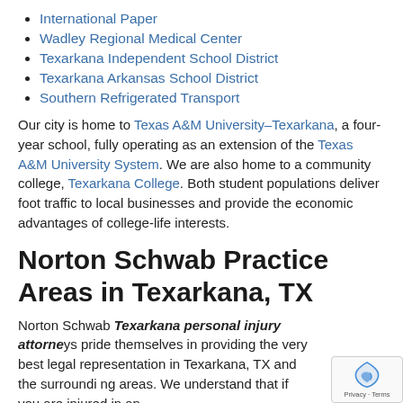International Paper
Wadley Regional Medical Center
Texarkana Independent School District
Texarkana Arkansas School District
Southern Refrigerated Transport
Our city is home to Texas A&M University–Texarkana, a four-year school, fully operating as an extension of the Texas A&M University System. We are also home to a community college, Texarkana College. Both student populations deliver foot traffic to local businesses and provide the economic advantages of college-life interests.
Norton Schwab Practice Areas in Texarkana, TX
Norton Schwab Texarkana personal injury attorneys pride themselves in providing the very best legal representation in Texarkana, TX and the surrounding areas. We understand that if you are injured in an